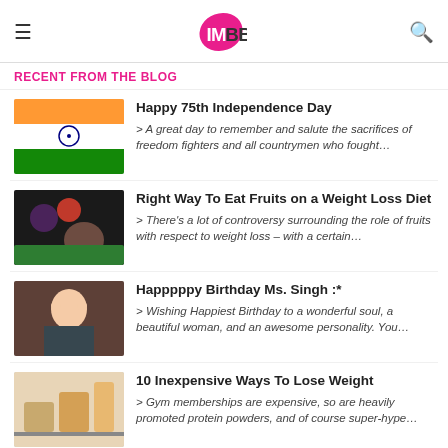IMBB
RECENT FROM THE BLOG
Happy 75th Independence Day
> A great day to remember and salute the sacrifices of freedom fighters and all countrymen who fought…
Right Way To Eat Fruits on a Weight Loss Diet
> There's a lot of controversy surrounding the role of fruits with respect to weight loss – with a certain…
Happpppy Birthday Ms. Singh :*
> Wishing Happiest Birthday to a wonderful soul, a beautiful woman, and an awesome personality. You…
10 Inexpensive Ways To Lose Weight
> Gym memberships are expensive, so are heavily promoted protein powders, and of course super-hype…